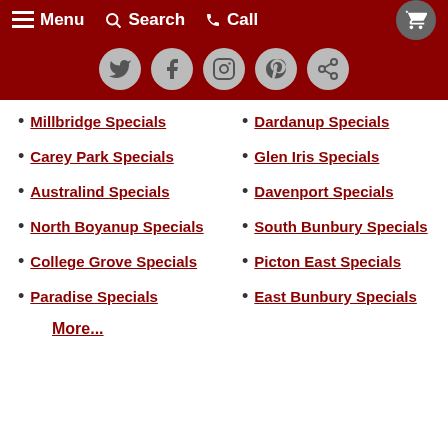Menu  Search  Call
Millbridge Specials
Dardanup Specials
Carey Park Specials
Glen Iris Specials
Australind Specials
Davenport Specials
North Boyanup Specials
South Bunbury Specials
College Grove Specials
Picton East Specials
Paradise Specials
East Bunbury Specials
More...